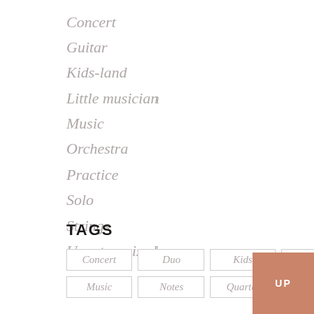Concert
Guitar
Kids-land
Little musician
Music
Orchestra
Practice
Solo
Strings
Uncategorized
TAGS
Concert
Duo
Kids
Love
Music
Notes
Quartet